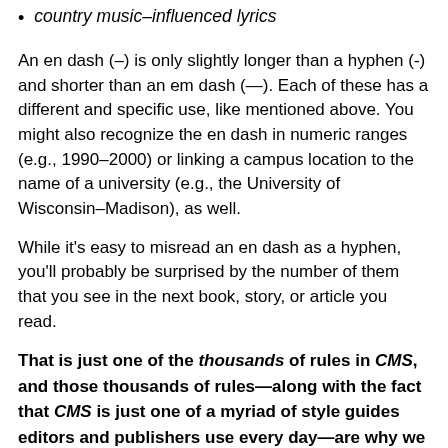country music–influenced lyrics
An en dash (–) is only slightly longer than a hyphen (-) and shorter than an em dash (—). Each of these has a different and specific use, like mentioned above. You might also recognize the en dash in numeric ranges (e.g., 1990–2000) or linking a campus location to the name of a university (e.g., the University of Wisconsin–Madison), as well.
While it's easy to misread an en dash as a hyphen, you'll probably be surprised by the number of them that you see in the next book, story, or article you read.
That is just one of the thousands of rules in CMS, and those thousands of rules—along with the fact that CMS is just one of a myriad of style guides editors and publishers use every day—are why we